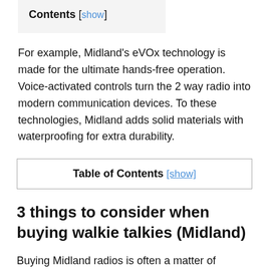Contents [ show ]
For example, Midland's eVOx technology is made for the ultimate hands-free operation. Voice-activated controls turn the 2 way radio into modern communication devices. To these technologies, Midland adds solid materials with waterproofing for extra durability.
Table of Contents [show]
3 things to consider when buying walkie talkies (Midland)
Buying Midland radios is often a matter of choosing the number of GMRS channels, battery life, and range.